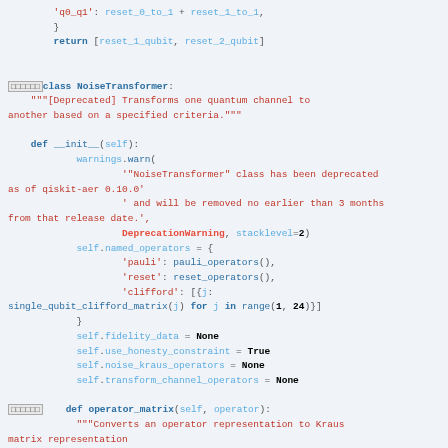Code block showing Python source for NoiseTransformer class with __init__ and operator_matrix methods
[Figure (screenshot): Python source code displaying NoiseTransformer class definition with deprecation warning, __init__ method initializing named_operators with pauli, reset, and clifford operators, fidelity_data, use_honesty_constraint, noise_kraus_operators, transform_channel_operators fields, and operator_matrix method docstring]